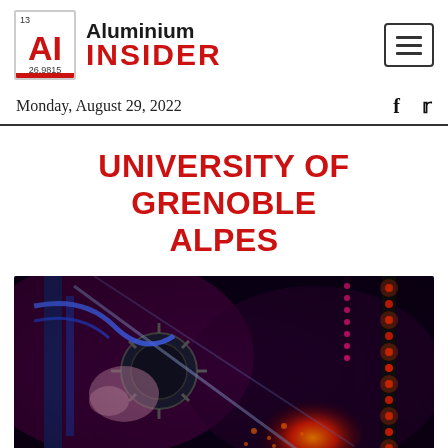Aluminium Insider — Monday, August 29, 2022
UNIVERSITY OF GRENOBLE ALPES
[Figure (photo): Laboratory or industrial machinery photo with red/pink LED lighting, gears, aluminum extrusion profiles, and mechanical components visible in a dark setting]